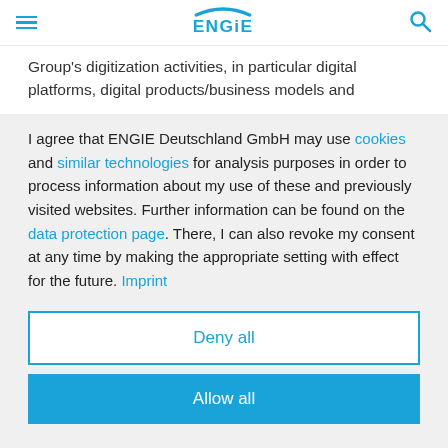ENGIE [logo with menu and search icons]
Group's digitization activities, in particular digital platforms, digital products/business models and
I agree that ENGIE Deutschland GmbH may use cookies and similar technologies for analysis purposes in order to process information about my use of these and previously visited websites. Further information can be found on the data protection page. There, I can also revoke my consent at any time by making the appropriate setting with effect for the future. Imprint
Deny all
Allow all